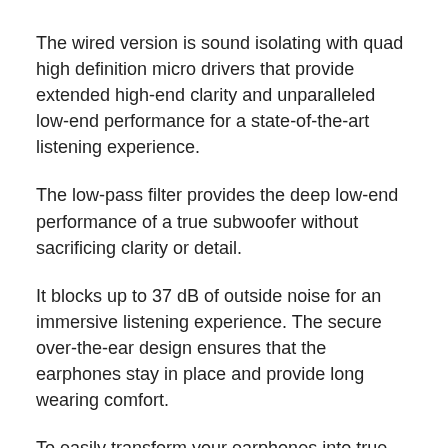The wired version is sound isolating with quad high definition micro drivers that provide extended high-end clarity and unparalleled low-end performance for a state-of-the-art listening experience.
The low-pass filter provides the deep low-end performance of a true subwoofer without sacrificing clarity or detail.
It blocks up to 37 dB of outside noise for an immersive listening experience. The secure over-the-ear design ensures that the earphones stay in place and provide long wearing comfort.
To easily transform your earphones into true wireless earbuds, simply use the true wireless adapter and voila – you now have over-the-ear earbuds with Bluetooth 5 technology that can pair with phones, laptops, tablets, consoles and more.